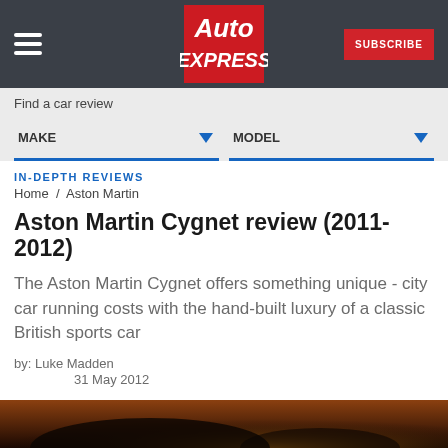Auto Express | SUBSCRIBE
Find a car review
MAKE  MODEL
IN-DEPTH REVIEWS
Home / Aston Martin
Aston Martin Cygnet review (2011-2012)
The Aston Martin Cygnet offers something unique - city car running costs with the hand-built luxury of a classic British sports car
by: Luke Madden
31 May 2012
[Figure (photo): Bottom strip showing partial photo of Aston Martin Cygnet car at night]